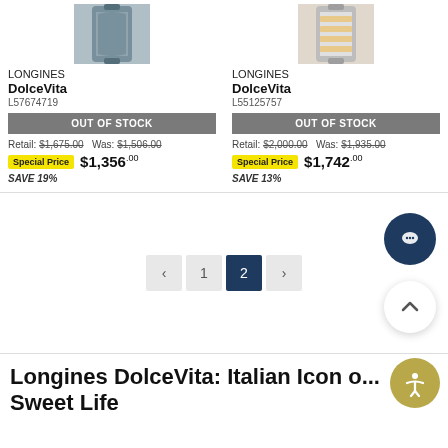[Figure (photo): Longines DolceVita watch with blue/grey fabric strap]
LONGINES
DolceVita
L57674719
OUT OF STOCK
Retail: $1,675.00   Was: $1,506.00
Special Price $1,356.00
SAVE 19%
[Figure (photo): Longines DolceVita watch with silver and rose gold bracelet]
LONGINES
DolceVita
L55125757
OUT OF STOCK
Retail: $2,000.00   Was: $1,935.00
Special Price $1,742.00
SAVE 13%
< 1 2 >
Longines DolceVita: Italian Icon o... Sweet Life